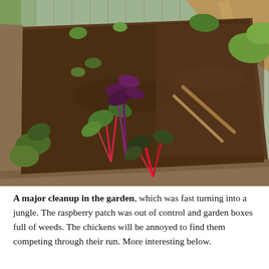[Figure (photo): A raised garden bed made of weathered wooden planks, filled with dark soil and growing various plants including chard with red stems, leafy greens, and purple-tinged plants. The bed is partially planted and partially bare soil. Background shows grass, fencing, and additional garden structures.]
A major cleanup in the garden, which was fast turning into a jungle. The raspberry patch was out of control and garden boxes full of weeds. The chickens will be annoyed to find them competing through their run. More interesting below.